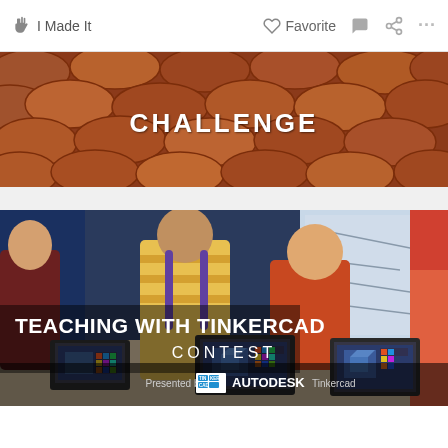✋ I Made It   ♡ Favorite 💬 🔗 ...
[Figure (photo): Banner image showing pennies/coins background with the word CHALLENGE in white text]
[Figure (photo): Teaching With Tinkercad Contest promotional image showing children using laptops and tablets in classroom, with text 'TEACHING WITH TINKERCAD CONTEST Presented by AUTODESK Tinkercad']